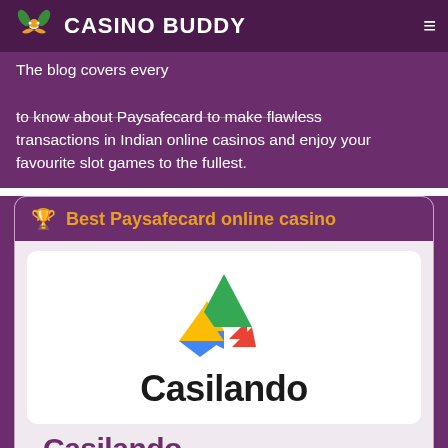Casino Buddy
The blog covers everything you need to know about Paysafecard to make flawless transactions in Indian online casinos and enjoy your favourite slot games to the fullest.
🏆 Best Paysafecard online casino
[Figure (logo): Casilando casino logo — geometric triangular shapes in green, yellow, blue and red/orange forming an abstract mountain/arrow shape]
Casilando
Casilando (partial, cut off)